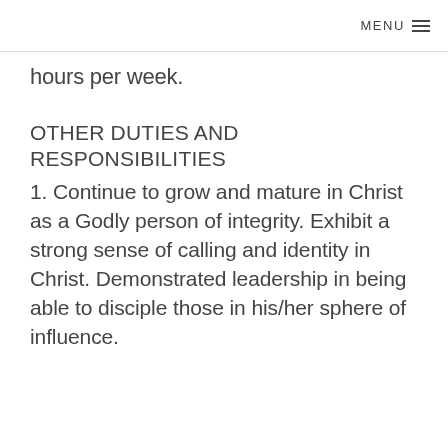MENU
hours per week.
OTHER DUTIES AND RESPONSIBILITIES
1. Continue to grow and mature in Christ as a Godly person of integrity. Exhibit a strong sense of calling and identity in Christ. Demonstrated leadership in being able to disciple those in his/her sphere of influence.